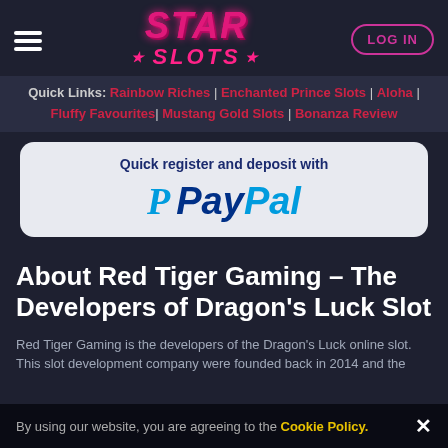[Figure (logo): Star Slots casino logo with pink/magenta gradient text and hamburger menu, LOG IN button]
Quick Links: Rainbow Riches | Enchanted Prince Slots | Aloha | Fluffy Favourites | Mustang Gold Slots | Bonanza Review
[Figure (logo): Quick register and deposit with PayPal banner on light grey rounded rectangle background]
About Red Tiger Gaming – The Developers of Dragon's Luck Slot
Red Tiger Gaming is the developers of the Dragon's Luck online slot. This slot development company were founded back in 2014 and the
By using our website, you are agreeing to the Cookie Policy.